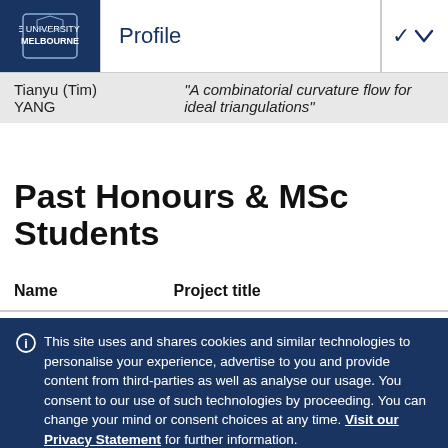Profile
| Name | Project title |
| --- | --- |
| Tianyu (Tim) YANG | "A combinatorial curvature flow for ideal triangulations" |
Past Honours & MSc Students
| Name | Project title |
| --- | --- |
This site uses and shares cookies and similar technologies to personalise your experience, advertise to you and provide content from third-parties as well as analyse our usage. You consent to our use of such technologies by proceeding. You can change your mind or consent choices at any time. Visit our Privacy Statement for further information.
Accept cookies | Cookie Preferences